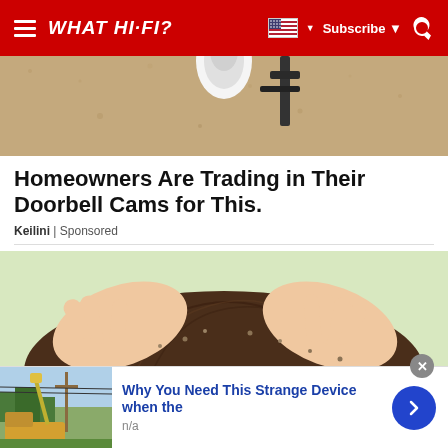WHAT HI-FI?
[Figure (photo): Top portion of a security/outdoor light camera mounted on a rough textured wall]
Homeowners Are Trading in Their Doorbell Cams for This.
Keilini | Sponsored
[Figure (illustration): Illustration of hands parting through dark brown hair searching for lice/nits on a light green background]
[Figure (photo): Bottom advertisement thumbnail showing a utility truck with crane near power lines]
Why You Need This Strange Device when the
n/a